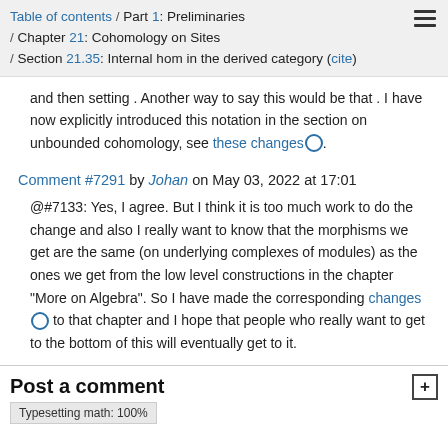Table of contents / Part 1: Preliminaries / Chapter 21: Cohomology on Sites / Section 21.35: Internal hom in the derived category (cite)
and then setting . Another way to say this would be that . I have now explicitly introduced this notation in the section on unbounded cohomology, see these changes.
Comment #7291 by Johan on May 03, 2022 at 17:01
@#7133: Yes, I agree. But I think it is too much work to do the change and also I really want to know that the morphisms we get are the same (on underlying complexes of modules) as the ones we get from the low level constructions in the chapter "More on Algebra". So I have made the corresponding changes to that chapter and I hope that people who really want to get to the bottom of this will eventually get to it.
Post a comment
Typesetting math: 100%